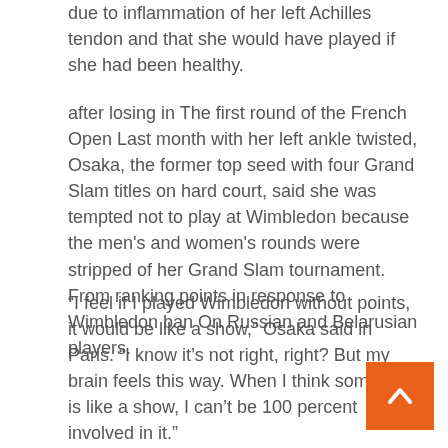due to inflammation of her left Achilles tendon and that she would have played if she had been healthy.
after losing in The first round of the French Open Last month with her left ankle twisted, Osaka, the former top seed with four Grand Slam titles on hard court, said she was tempted not to play at Wimbledon because the men's and women's rounds were stripped of her Grand Slam tournament. From ranking points in response to Wimbledon ban On Russian and Belarusian players.
“I feel if I played Wimbledon without points, it would be like a show,” Osaka said in Paris. “I know it’s not right, right? But my brain feels this way. When I think something is like a show, I can’t be 100 percent involved in it.”
[Figure (other): Orange back-to-top button with upward-pointing chevron arrow]